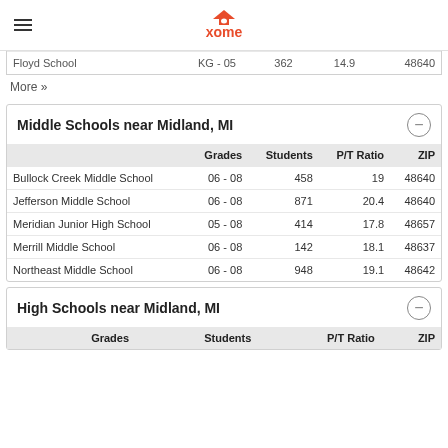xome
|  | Grades | Students | P/T Ratio | ZIP |
| --- | --- | --- | --- | --- |
| Floyd School | KG - 05 | 362 | 14.9 | 48640 |
More »
Middle Schools near Midland, MI
|  | Grades | Students | P/T Ratio | ZIP |
| --- | --- | --- | --- | --- |
| Bullock Creek Middle School | 06 - 08 | 458 | 19 | 48640 |
| Jefferson Middle School | 06 - 08 | 871 | 20.4 | 48640 |
| Meridian Junior High School | 05 - 08 | 414 | 17.8 | 48657 |
| Merrill Middle School | 06 - 08 | 142 | 18.1 | 48637 |
| Northeast Middle School | 06 - 08 | 948 | 19.1 | 48642 |
High Schools near Midland, MI
|  | Grades | Students | P/T Ratio | ZIP |
| --- | --- | --- | --- | --- |